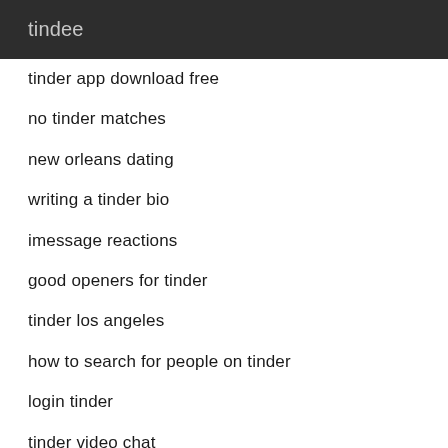tindee
tinder app download free
no tinder matches
new orleans dating
writing a tinder bio
imessage reactions
good openers for tinder
tinder los angeles
how to search for people on tinder
login tinder
tinder video chat
bi sexual stories